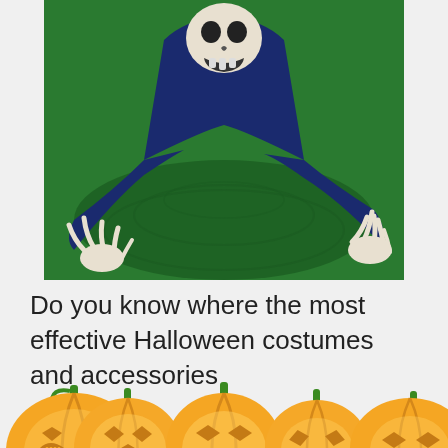[Figure (photo): A Halloween skeleton decoration partially emerging from bright green ground, wearing a dark blue cloak. The skeleton has a open-mouthed skull head and skeletal hands with exposed finger bones reaching outward.]
Do you know where the most effective Halloween costumes and accessories come from? You can get everything from a
[Figure (illustration): A row of five orange Halloween jack-o-lantern pumpkin emoji/illustrations, each with a green stem on top and different carved facial expressions glowing in yellow-orange light.]